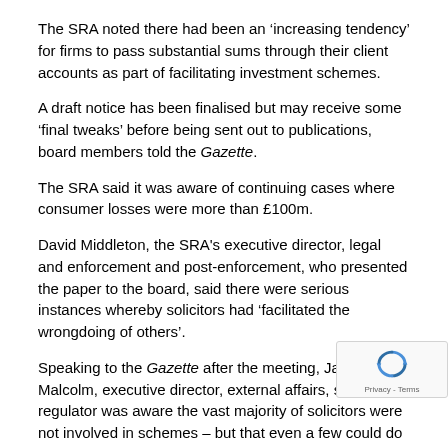The SRA noted there had been an ‘increasing tendency’ for firms to pass substantial sums through their client accounts as part of facilitating investment schemes.
A draft notice has been finalised but may receive some ‘final tweaks’ before being sent out to publications, board members told the Gazette.
The SRA said it was aware of continuing cases where consumer losses were more than £100m.
David Middleton, the SRA's executive director, legal and enforcement and post-enforcement, who presented the paper to the board, said there were serious instances whereby solicitors had ‘facilitated the wrongdoing of others’.
Speaking to the Gazette after the meeting, Jane Malcolm, executive director, external affairs, said the regulator was aware the vast majority of solicitors were not involved in schemes – but that even a few could do a lot of damage.
By Max Walters